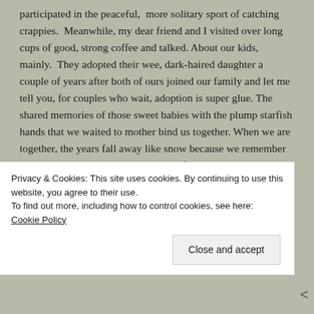participated in the peaceful, more solitary sport of catching crappies. Meanwhile, my dear friend and I visited over long cups of good, strong coffee and talked. About our kids, mainly. They adopted their wee, dark-haired daughter a couple of years after both of ours joined our family and let me tell you, for couples who wait, adoption is super glue. The shared memories of those sweet babies with the plump starfish hands that we waited to mother bind us together. When we are together, the years fall away like snow because we remember it all. How good to have people in life with whom it is possible to be real and raw, honest and true. Friends who say, I remember, and I get it. All of it. I get you. Me too, friend. Me too.
Privacy & Cookies: This site uses cookies. By continuing to use this website, you agree to their use.
To find out more, including how to control cookies, see here: Cookie Policy